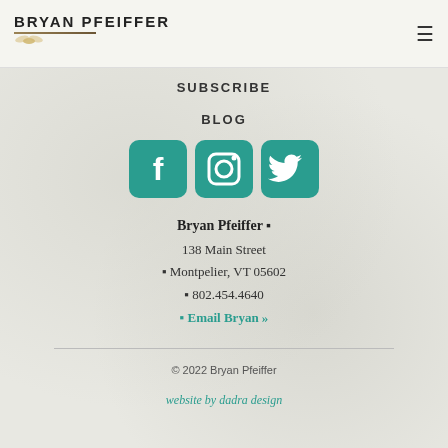BRYAN PFEIFFER
SUBSCRIBE
BLOG
[Figure (illustration): Three social media icons (Facebook, Instagram, Twitter) in teal/green rounded square buttons]
Bryan Pfeiffer ◼
138 Main Street
◼ Montpelier, VT 05602
◼ 802.454.4640
◼ Email Bryan »
© 2022 Bryan Pfeiffer
website by dadra design